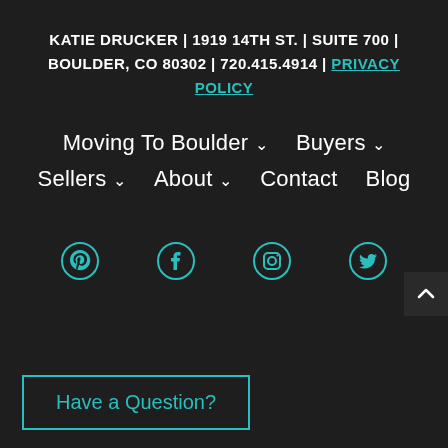KATIE DRUCKER | 1919 14TH ST. | SUITE 700 | BOULDER, CO 80302 | 720.415.4914 | PRIVACY POLICY
Moving To Boulder ∨
Buyers ∨
Sellers ∨
About ∨
Contact
Blog
[Figure (other): Social media icons row: Pinterest, Facebook, Instagram, Twitter — all in teal color]
Have a Question?